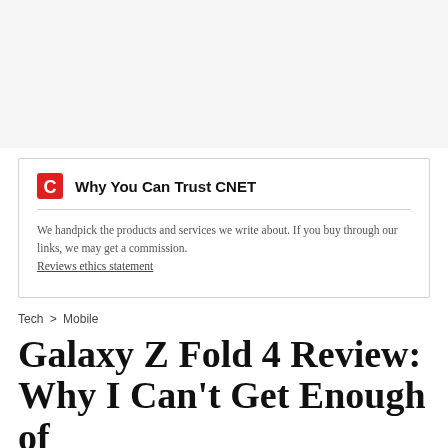[Figure (other): Top gray background banner area]
Why You Can Trust CNET
We handpick the products and services we write about. If you buy through our links, we may get a commission. Reviews ethics statement
Tech > Mobile
Galaxy Z Fold 4 Review: Why I Can't Get Enough of